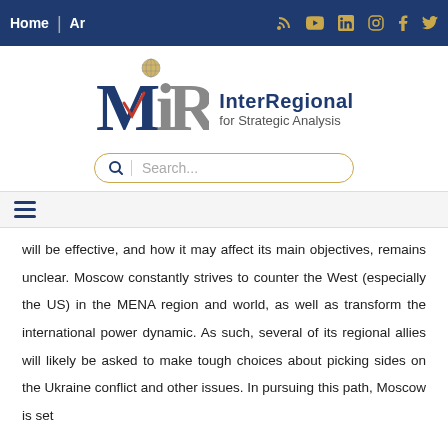Home | Ar
[Figure (logo): InterRegional for Strategic Analysis logo with MIR letters and globe icon]
Search...
will be effective, and how it may affect its main objectives, remains unclear. Moscow constantly strives to counter the West (especially the US) in the MENA region and world, as well as transform the international power dynamic. As such, several of its regional allies will likely be asked to make tough choices about picking sides on the Ukraine conflict and other issues. In pursuing this path, Moscow is set